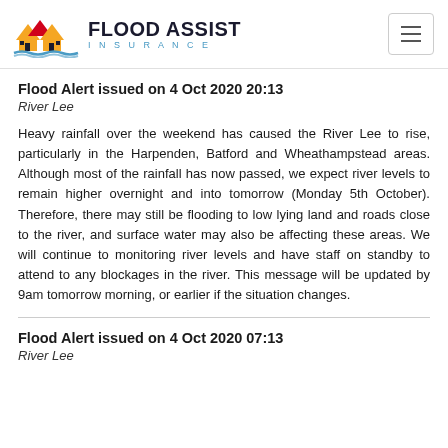[Figure (logo): Flood Assist Insurance logo with house icon in orange/red and blue wave, with brand name FLOOD ASSIST INSURANCE in bold]
Flood Alert issued on 4 Oct 2020 20:13
River Lee
Heavy rainfall over the weekend has caused the River Lee to rise, particularly in the Harpenden, Batford and Wheathampstead areas. Although most of the rainfall has now passed, we expect river levels to remain higher overnight and into tomorrow (Monday 5th October). Therefore, there may still be flooding to low lying land and roads close to the river, and surface water may also be affecting these areas. We will continue to monitoring river levels and have staff on standby to attend to any blockages in the river. This message will be updated by 9am tomorrow morning, or earlier if the situation changes.
Flood Alert issued on 4 Oct 2020 07:13